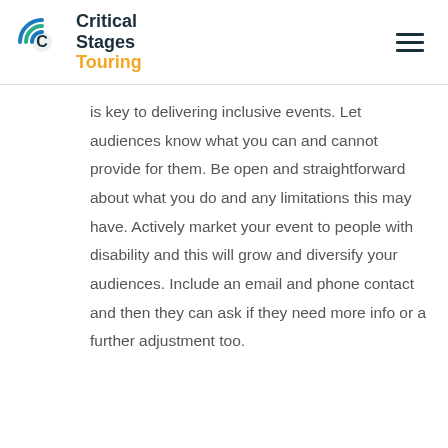Critical Stages Touring
is key to delivering inclusive events. Let audiences know what you can and cannot provide for them. Be open and straightforward about what you do and any limitations this may have. Actively market your event to people with disability and this will grow and diversify your audiences. Include an email and phone contact and then they can ask if they need more info or a further adjustment too.